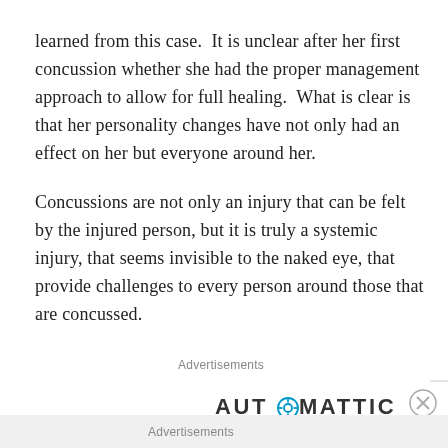learned from this case.  It is unclear after her first concussion whether she had the proper management approach to allow for full healing.  What is clear is that her personality changes have not only had an effect on her but everyone around her.
Concussions are not only an injury that can be felt by the injured person, but it is truly a systemic injury, that seems invisible to the naked eye, that provide challenges to every person around those that are concussed.
Advertisements
[Figure (logo): Automattic logo with stylized letter O as a gear/target symbol]
Advertisements